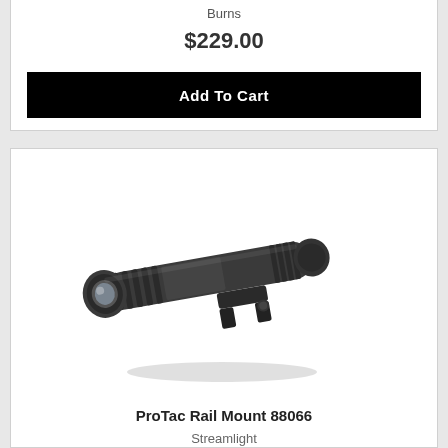Burns
$229.00
Add To Cart
[Figure (photo): Streamlight ProTac Rail Mount 88066 tactical flashlight with rail mount, black anodized aluminum body, shown at angle]
ProTac Rail Mount 88066
Streamlight
$134.99